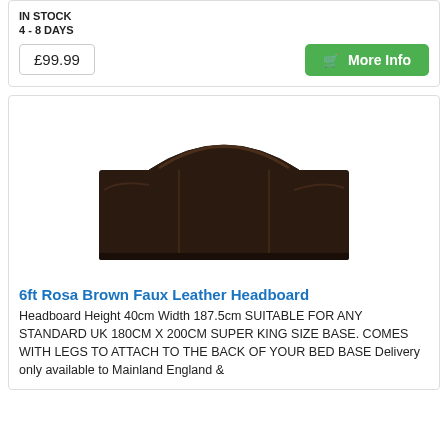IN STOCK
4 - 8 DAYS
£99.99
More Info
[Figure (photo): Brown faux leather headboard with arched panel sections, viewed from the front]
6ft Rosa Brown Faux Leather Headboard
Headboard Height 40cm Width 187.5cm SUITABLE FOR ANY STANDARD UK 180CM X 200CM SUPER KING SIZE BASE. COMES WITH LEGS TO ATTACH TO THE BACK OF YOUR BED BASE Delivery only available to Mainland England &